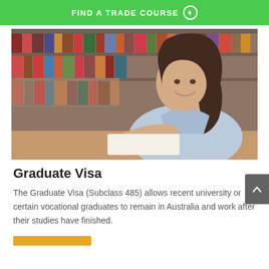FIND A TRADE COURSE →
[Figure (photo): Young woman with long dark hair smiling, wearing a light blue shirt, sitting at a desk writing with a pencil in a library with bookshelves of books in the background.]
Graduate Visa
The Graduate Visa (Subclass 485) allows recent university or certain vocational graduates to remain in Australia and work after their studies have finished.